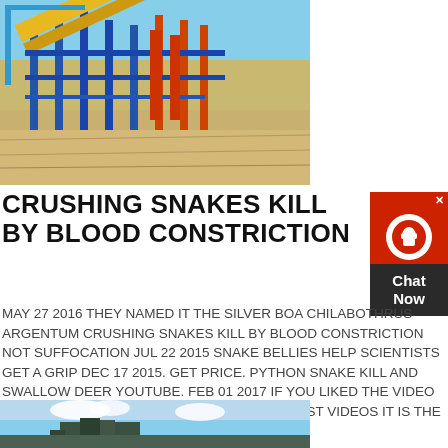[Figure (photo): Industrial mining or construction equipment with blue and yellow steel structure against a sandy ground background under clear sky]
CRUSHING SNAKES KILL BY BLOOD CONSTRICTION
MAY 27 2016 THEY NAMED IT THE SILVER BOA CHILABOTHRUS ARGENTUM CRUSHING SNAKES KILL BY BLOOD CONSTRICTION NOT SUFFOCATION JUL 22 2015 SNAKE BELLIES HELP SCIENTISTS GET A GRIP DEC 17 2015. GET PRICE. PYTHON SNAKE KILL AND SWALLOW DEER YOUTUBE. FEB 01 2017 IF YOU LIKED THE VIDEO PLEASE SUBSCRIBE OUR CHANNEL FOR LATEST VIDEOS IT IS THE VIDEO OF PYTHON SNAKE KILL AND
GET PRICE
[Figure (photo): Outdoor industrial or machinery scene with blue sky and clouds in background]